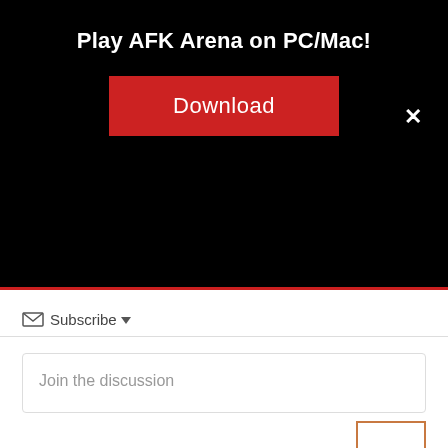Play AFK Arena on PC/Mac!
[Figure (other): Red Download button on black banner with close X button]
Subscribe
Join the discussion
Name*